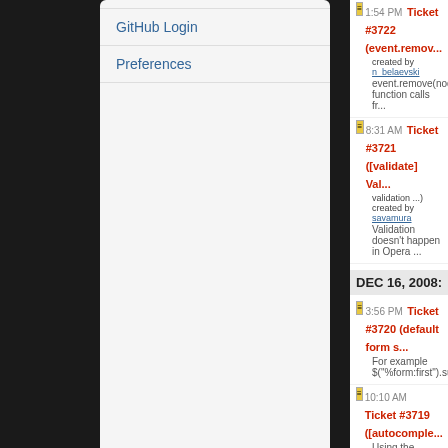GitHub Login
Preferences
DEC 16, 2008:
1:54 PM Ticket #3722 (event.remove... created by n_belaevski
event.remove(node) function calls fr...
8:31 AM Ticket #3721 ([validate] Val... validation ...) created by savamura
Validation doesn't happen in Opera ...
3:56 PM Ticket #3720 (default form s...
For example $("%form:first").submit();
10:10 AM Ticket #3719 ([autocomple...
Using the demo @ http://jquery...
9:30 AM Ticket #3718 ($.map, witho...
Invalid: That's the expected behavio...
8:07 AM Ticket #3718 ($.map, witho...
for example: $("html").map(function(...
7:43 AM Ticket #3717 (Clicking on D...
Invalid: This belongs to the UI B...
7:42 AM Ticket #3710 (IE 8 find() do...
worksforme: It works for me on IE8.
7:41 AM Ticket #3711 (hasClass() A...
wontfix: hasClass doesn't support cl...
7:41 AM Ticket #3715 (jQuery.Dialog...
Invalid: This belongs to the UI B...
7:16 AM Ticket #3717 (Clicking on D...
If you click multiple times on or arou...